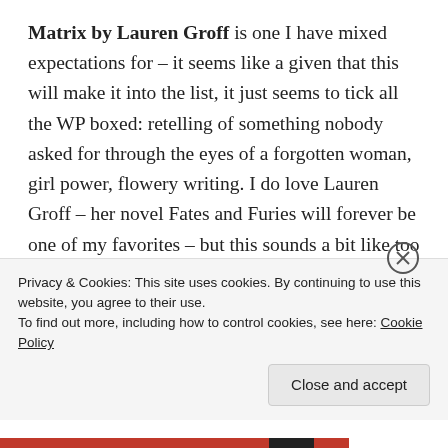Matrix by Lauren Groff is one I have mixed expectations for – it seems like a given that this will make it into the list, it just seems to tick all the WP boxed: retelling of something nobody asked for through the eyes of a forgotten woman, girl power, flowery writing. I do love Lauren Groff – her novel Fates and Furies will forever be one of my favorites – but this sounds a bit like too much black-and-white view of a historical setting for the sake of showing how progressive the main character, the embodiment of girl power which doesn't fit with society's expectations. I
Privacy & Cookies: This site uses cookies. By continuing to use this website, you agree to their use.
To find out more, including how to control cookies, see here: Cookie Policy
Close and accept